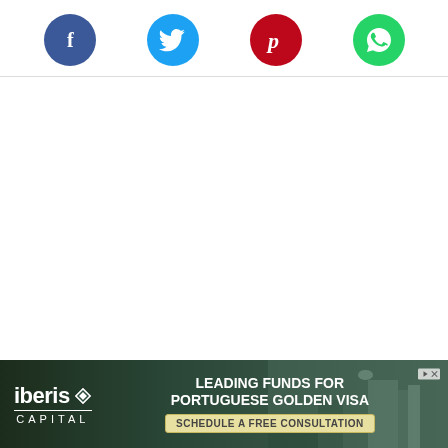[Figure (other): Social share buttons row: Facebook (dark blue circle with f icon), Twitter (light blue circle with bird icon), Pinterest (red circle with P icon), WhatsApp (green circle with phone icon)]
[Figure (other): Dropdown/collapse button with chevron (down arrow) in rounded rectangle]
[Figure (other): Advertisement banner for Iberis Capital: 'LEADING FUNDS FOR PORTUGUESE GOLDEN VISA' with 'SCHEDULE A FREE CONSULTATION' CTA button, Iberis Capital logo on left, cityscape background image on right, close/skip button top right]